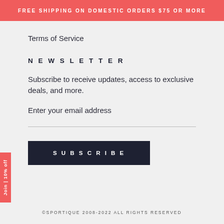FREE SHIPPING ON DOMESTIC ORDERS $75 OR MORE
Terms of Service
NEWSLETTER
Subscribe to receive updates, access to exclusive deals, and more.
Enter your email address
SUBSCRIBE
©SPORTIQUE 2008-2022 ALL RIGHTS RESERVED